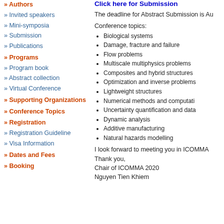» Authors
» Invited speakers
» Mini-symposia
» Submission
» Publications
» Programs
» Program book
» Abstract collection
» Virtual Conference
» Supporting Organizations
» Conference Topics
» Registration
» Registration Guideline
» Visa Information
» Dates and Fees
» Booking
Click here for Submission
The deadline for Abstract Submission is Au
Conference topics:
Biological systems
Damage, fracture and failure
Flow problems
Multiscale multiphysics problems
Composites and hybrid structures
Optimization and inverse problems
Lightweight structures
Numerical methods and computati
Uncertainty quantification and data
Dynamic analysis
Additive manufacturing
Natural hazards modelling
I look forward to meeting you in ICOMMA
Thank you,
Chair of ICOMMA 2020
Nguyen Tien Khiem